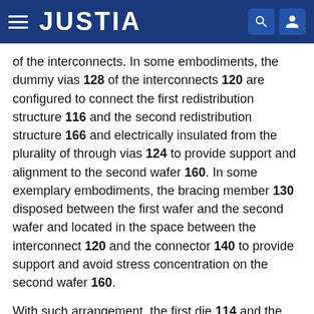JUSTIA
of the interconnects. In some embodiments, the dummy vias 128 of the interconnects 120 are configured to connect the first redistribution structure 116 and the second redistribution structure 166 and electrically insulated from the plurality of through vias 124 to provide support and alignment to the second wafer 160. In some exemplary embodiments, the bracing member 130 disposed between the first wafer and the second wafer and located in the space between the interconnect 120 and the connector 140 to provide support and avoid stress concentration on the second wafer 160.
With such arrangement, the first die 114 and the second die 164 are electrically connected to each other through wafer to wafer bonding techniques instead of both mounting on a substrate such as a printed circuit board.